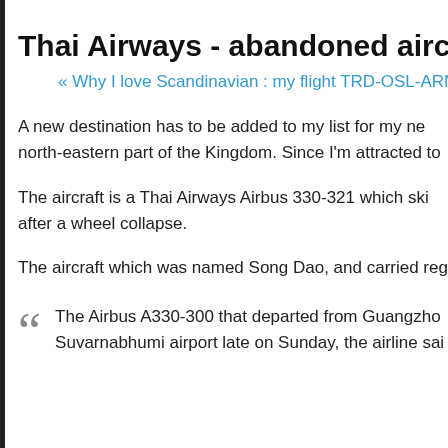Thai Airways - abandoned aircraft near
« Why I love Scandinavian : my flight TRD-OSL-ARN
A new destination has to be added to my list for my ne north-eastern part of the Kingdom. Since I'm attracted to
The aircraft is a Thai Airways Airbus 330-321 which ski after a wheel collapse.
The aircraft which was named Song Dao, and carried reg
The Airbus A330-300 that departed from Guangzho Suvarnabhumi airport late on Sunday, the airline sai